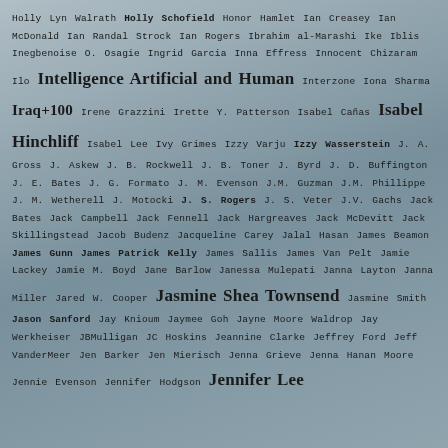Holly Lyn Walrath Holly Schofield Honor Hamlet Ian Creasey Ian McDonald Ian Randal Strock Ian Rogers Ibrahim al-Marashi Ike Iblis Inegbenoise O. Osagie Ingrid Garcia Inna Effress Innocent Chizaram Ilo Intelligence Artificial and Human Interzone Iona Sharma Iraq+100 Irene Grazzini Irette Y. Patterson Isabel Cañas Isabel Hinchliff Isabel Lee Ivy Grimes Izzy Varju Izzy Wasserstein J. A. Gross J. Askew J. B. Rockwell J. B. Toner J. Byrd J. D. Buffington J. E. Bates J. G. Formato J. M. Evenson J.M. Guzman J.M. Phillippe J. M. Wetherell J. Motocki J. S. Rogers J. S. Veter J.V. Gachs Jack Bates Jack Campbell Jack Fennell Jack Hargreaves Jack McDevitt Jack Skillingstead Jacob Budenz Jacqueline Carey Jalal Hasan James Beamon James Gunn James Patrick Kelly James Sallis James Van Pelt Jamie Lackey Jamie M. Boyd Jane Barlow Janessa Mulepati Janna Layton Janna Miller Jared W. Cooper Jasmine Shea Townsend Jasmine Smith Jason Sanford Jay Knioum Jaymee Goh Jayne Moore Waldrop Jay Werkheiser JBMulligan JC Hoskins Jeannine Clarke Jeffrey Ford Jeff VanderMeer Jen Barker Jen Mierisch Jenna Grieve Jenna Hanan Moore Jennie Evenson Jennifer Hodgson Jennifer Lee